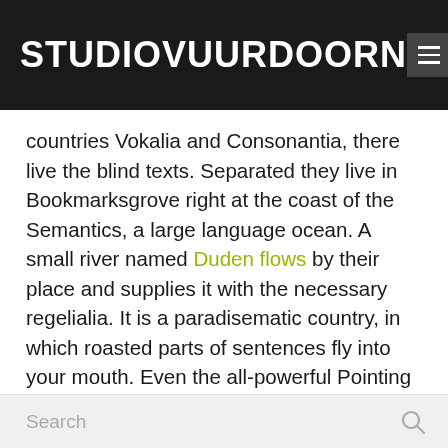STUDIOVUURDOORN
countries Vokalia and Consonantia, there live the blind texts. Separated they live in Bookmarksgrove right at the coast of the Semantics, a large language ocean. A small river named Duden flows by their place and supplies it with the necessary regelialia. It is a paradisematic country, in which roasted parts of sentences fly into your mouth. Even the all-powerful Pointing has no control about the blind texts it is an almost unorthographic life.
Search